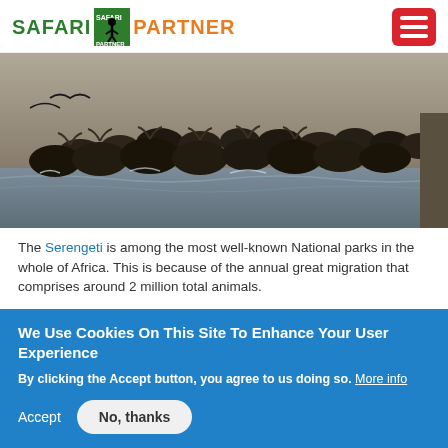[Figure (logo): Safari Partner logo with green text SAFARI, green square icon with figure, orange text PARTNER, and red hamburger menu icon on right]
[Figure (photo): Wildebeest crossing a river during the great migration, black and white/sepia photo showing hundreds of wildebeest in water]
The Serengeti is among the most well-known National parks in the whole of Africa. This is because of the annual great migration that comprises around 2 million total animals.
The Serengeti borders Kenya's Maasai Mara which
We Use Cookies On This Site To Enhance Your User Experience
By clicking the Accept button, you agree to us doing so. More info
Accept
No, thanks